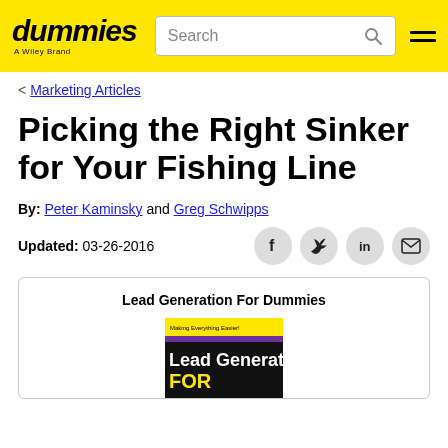dummies — A Wiley Brand
< Marketing Articles
Picking the Right Sinker for Your Fishing Line
By: Peter Kaminsky and Greg Schwipps
Updated: 03-26-2016
[Figure (other): Lead Generation For Dummies book cover showing yellow and black design with title text]
Lead Generation For Dummies